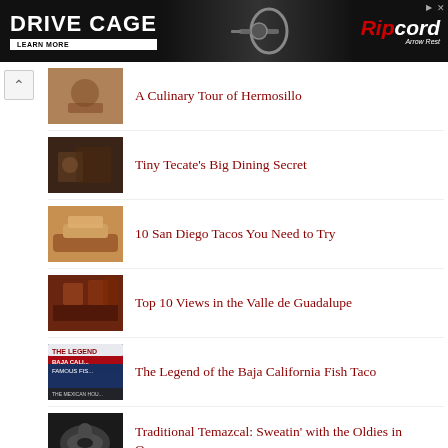[Figure (photo): Drive Cage advertisement banner for Ripcord Arrow Rest with bow equipment image]
A Culinary Tour of Hermosillo
Tiny Tecate's Big Dining Secret
10 San Diego Tacos You Need to Try
Top 10 Views in the Valle de Guadalupe
The Legend of the Baja California Fish Taco
Traditional Temazcal: Sweatin' with the Oldies in Oaxaca
iLa Pinche Linea! 10 Ways to Enjoy Your Wait at the San Ysidro Border Crossing